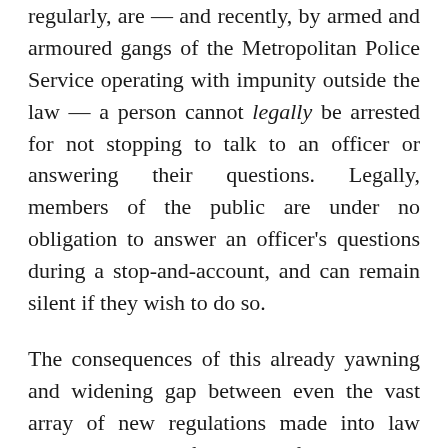regularly, are — and recently, by armed and armoured gangs of the Metropolitan Police Service operating with impunity outside the law — a person cannot legally be arrested for not stopping to talk to an officer or answering their questions. Legally, members of the public are under no obligation to answer an officer's questions during a stop-and-account, and can remain silent if they wish to do so.
The consequences of this already yawning and widening gap between even the vast array of new regulations made into law under the cloak of this manufactured crisis and the actions of an increasingly violent, armed and